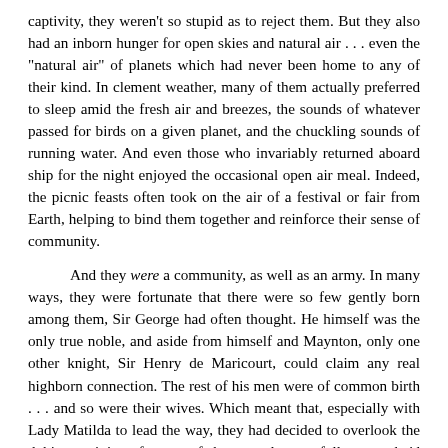captivity, they weren't so stupid as to reject them. But they also had an inborn hunger for open skies and natural air . . . even the "natural air" of planets which had never been home to any of their kind. In clement weather, many of them actually preferred to sleep amid the fresh air and breezes, the sounds of whatever passed for birds on a given planet, and the chuckling sounds of running water. And even those who invariably returned aboard ship for the night enjoyed the occasional open air meal. Indeed, the picnic feasts often took on the air of a festival or fair from Earth, helping to bind them together and reinforce their sense of community.

And they were a community, as well as an army. In many ways, they were fortunate that there were so few gently born among them, Sir George had often thought. He himself was the only true noble, and aside from himself and Maynton, only one other knight, Sir Henry de Maricourt, could claim any real highborn connection. The rest of his men were of common birth . . . and so were their wives. Which meant that, especially with Lady Matilda to lead the way, they had decided to overlook the dubious origins of many of the unwed camp followers who'd joined them in their involuntary exile. Most of those camp followers, though by no means all, had acquired husbands quite speedily. A few had chosen not to, and Father Timothy had agreed, under the circumstances, not to inveigh against them. There were a great many more men than women, and the one thing most likely